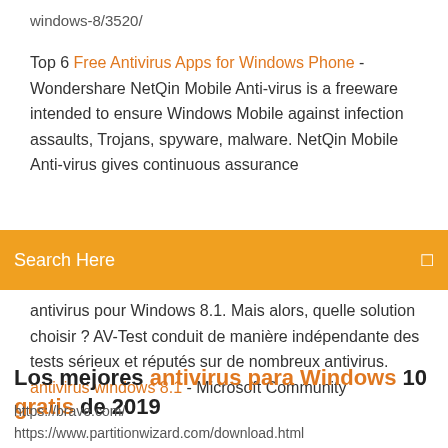windows-8/3520/
Top 6 Free Antivirus Apps for Windows Phone - Wondershare NetQin Mobile Anti-virus is a freeware intended to ensure Windows Mobile against infection assaults, Trojans, spyware, malware. NetQin Mobile Anti-virus gives continuous assurance
Search Here
antivirus pour Windows 8.1. Mais alors, quelle solution choisir ? AV-Test conduit de manière indépendante des tests sérieux et réputés sur de nombreux antivirus. antivirus windows 8.1 - Microsoft Community
Los mejores antivirus para Windows 10 gratis de 2019
https://brave.com/
https://www.partitionwizard.com/download.html
https://apps.ankiweb.net/ https://pplware.sapo.pt/software/5-antivirus...